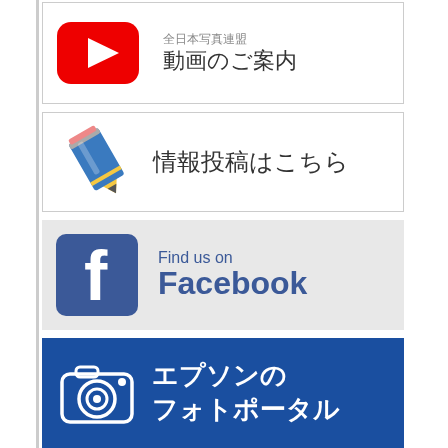[Figure (screenshot): YouTube banner with red play button icon, text '全日本写真連盟' and '動画のご案内']
[Figure (screenshot): Information posting banner with blue pencil icon and text '情報投稿はこちら']
[Figure (screenshot): Facebook 'Find us on Facebook' banner with blue Facebook logo on grey background]
[Figure (screenshot): Epson photo portal banner with blue background, white camera icon, and text 'エプソンの フォトポータル']
English Information
2013/05/02 About The All-Japan Association of Photographic Societies